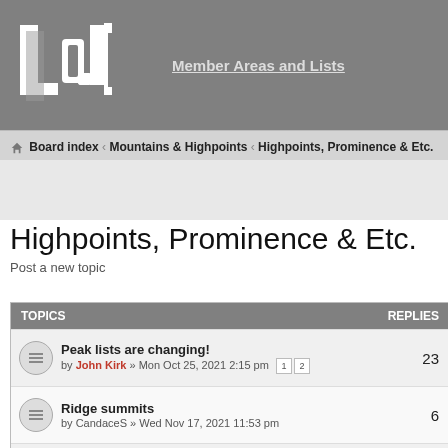[Figure (logo): LoJ logo - white letters on gray background]
Member Areas and Lists
Board index < Mountains & Highpoints < Highpoints, Prominence & Etc.
Highpoints, Prominence & Etc.
Post a new topic
| TOPICS | REPLIES |
| --- | --- |
| Peak lists are changing! by John Kirk » Mon Oct 25, 2021 2:15 pm | 23 |
| Ridge summits by CandaceS » Wed Nov 17, 2021 11:53 pm | 6 |
| New National Park - New River Gorge, WV by Jeremy Hakes » Wed Feb 17, 2021 6:47 am | 1 |
| Park Plateau by RyanSchilling » Wed Jul 10, 2019 11:23 am | 1 |
| Dan Mac Completes Nevada P6Ks |  |